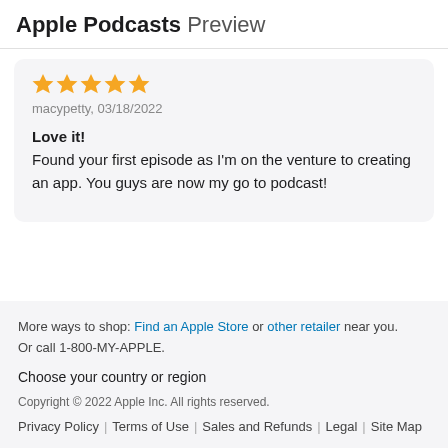Apple Podcasts Preview
★★★★★
macypetty, 03/18/2022
Love it!
Found your first episode as I'm on the venture to creating an app. You guys are now my go to podcast!
More ways to shop: Find an Apple Store or other retailer near you. Or call 1-800-MY-APPLE.
Choose your country or region
Copyright © 2022 Apple Inc. All rights reserved.
Privacy Policy | Terms of Use | Sales and Refunds | Legal | Site Map